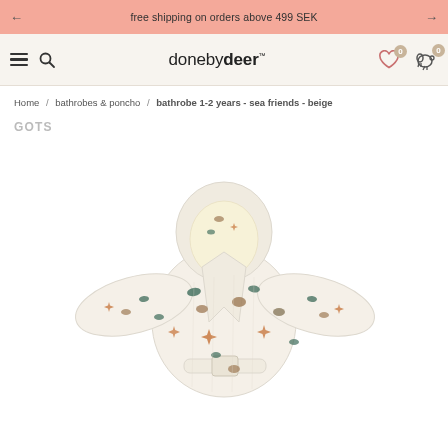free shipping on orders above 499 SEK
[Figure (logo): donebydeer brand logo with hamburger menu and search icons on left, wishlist and cart icons on right]
Home / bathrobes & poncho / bathrobe 1-2 years - sea friends - beige
GOTS
[Figure (photo): Cream/beige hooded baby bathrobe with sea creatures print (starfish, shells, sea animals) in muted tones, spread out flat to show shape with hood and belt]